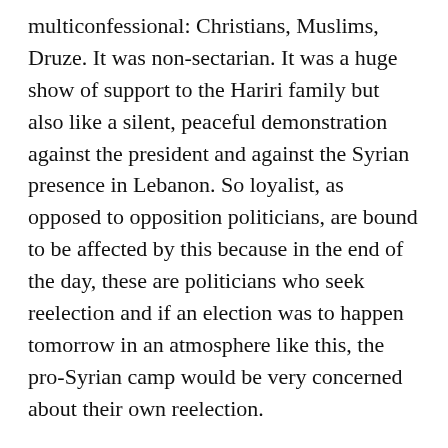multiconfessional: Christians, Muslims, Druze. It was non-sectarian. It was a huge show of support to the Hariri family but also like a silent, peaceful demonstration against the president and against the Syrian presence in Lebanon. So loyalist, as opposed to opposition politicians, are bound to be affected by this because in the end of the day, these are politicians who seek reelection and if an election was to happen tomorrow in an atmosphere like this, the pro-Syrian camp would be very concerned about their own reelection.
RFE/RL: So do you see this wave of support and outpouring of grief adding up to victory for the opposition in Lebanon's general elections this May?
Shehadi: It is certainly going to be a factor in the elections...